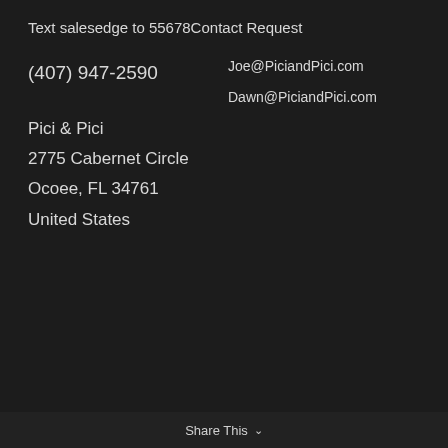Text salesedge to 55678Contact Request
(407) 947-2590
Joe@PiciandPici.com
Dawn@PiciandPici.com
Pici & Pici
2775 Cabernet Circle
Ocoee, FL 34761
United States
Share This